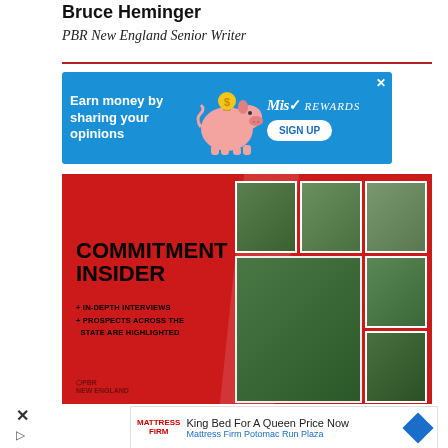Bruce Heminger
PBR New England Senior Writer
[Figure (infographic): Advertisement banner: Earn money by sharing your opinions – Miso Rewards sign up]
[Figure (infographic): Commitment Insider banner with baseball player photos and text: IN-DEPTH INTERVIEWS, PROSPECTS ACROSS THE STATE ARE HIGHLIGHTED]
[Figure (infographic): Mattress Firm advertisement: King Bed For A Queen Price Now – Mattress Firm Potomac Run Plaza]